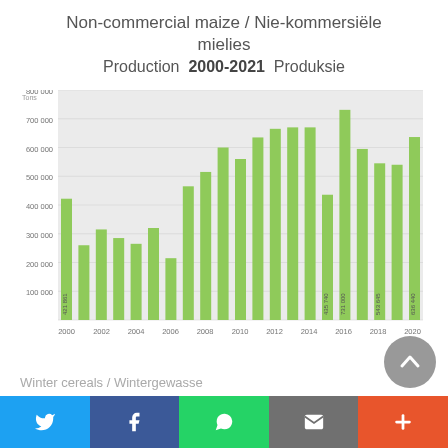Non-commercial maize / Nie-kommersiële mielies Production 2000-2021 Produksie
[Figure (bar-chart): Non-commercial maize / Nie-kommersiële mielies Production 2000-2021 Produksie]